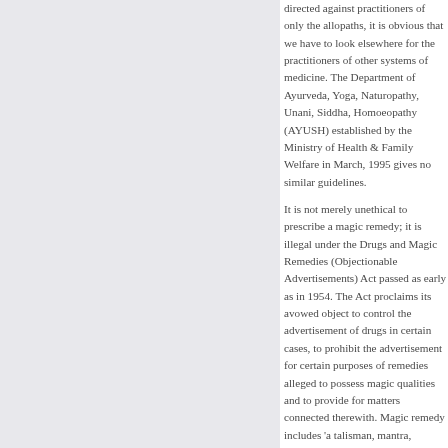directed against practitioners of only the allopaths, it is obvious that we have to look elsewhere for the practitioners of other systems of medicine. The Department of Ayurveda, Yoga, Naturopathy, Unani, Siddha, Homoeopathy (AYUSH) established by the Ministry of Health & Family Welfare in March, 1995 gives no similar guidelines.
It is not merely unethical to prescribe a magic remedy; it is illegal under the Drugs and Magic Remedies (Objectionable Advertisements) Act passed as early as in 1954. The Act proclaims its avowed object to control the advertisement of drugs in certain cases, to prohibit the advertisement for certain purposes of remedies alleged to possess magic qualities and to provide for matters connected therewith. Magic remedy includes 'a talisman, mantra, kavacha, and any other charm of any kind which is alleged to possess miraculous powers for or in diagnosis, cure, mitigation, treatment or prevention of any